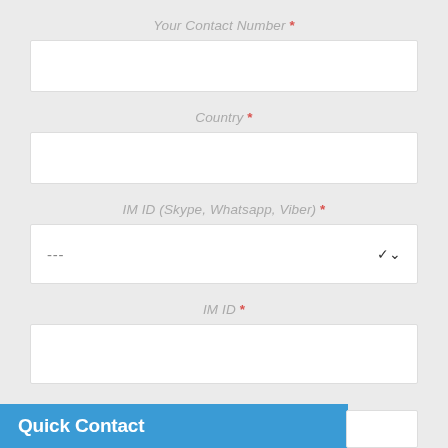Your Contact Number *
Country *
IM ID (Skype, Whatsapp, Viber) *
IM ID *
Quick Contact